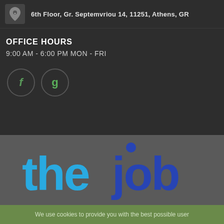6th Floor, Gr. Septembriou 14, 11251, Athens, GR
OFFICE HOURS
9:00 AM - 6:00 PM MON - FRI
[Figure (logo): Social media icons: Facebook (f) and Google (g) in circular bordered buttons]
[Figure (logo): thejob logo with 'the' in light blue and 'job' in dark blue]
We use cookies to provide you with the best possible user